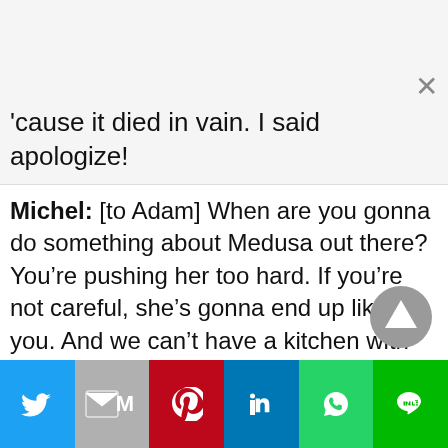'cause it died in vain. I said apologize!
Michel: [to Adam] When are you gonna do something about Medusa out there? You're pushing her too hard. If you're not careful, she's gonna end up like you. And we can't have a kitchen with two of you in it.
[Figure (other): Scroll-to-top button (dark grey circle with upward triangle arrow)]
Social share bar: Twitter, Gmail, Pinterest, LinkedIn, WhatsApp, Line